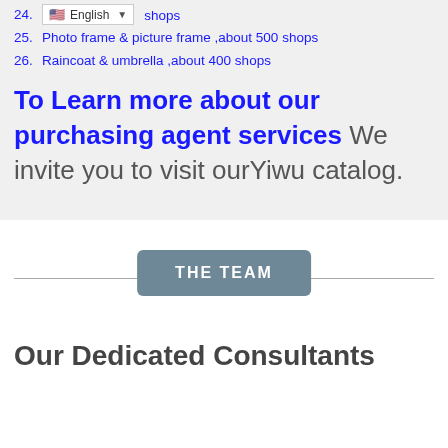24.  [English dropdown]  shops
25.  Photo frame & picture frame ,about 500 shops
26.  Raincoat & umbrella ,about 400 shops
To Learn more about our purchasing agent services  We invite you to visit ourYiwu catalog.
THE TEAM
Our Dedicated Consultants